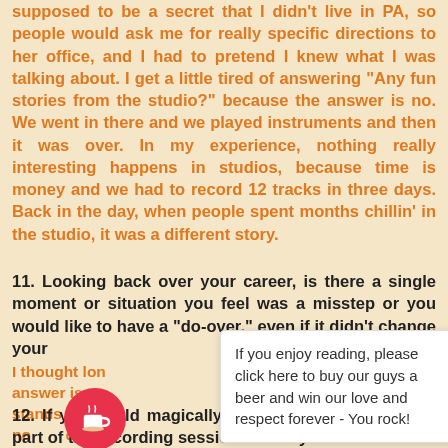supposed to be a secret that I didn't live in PA, so people would ask me for really specific directions to her office, and I had to pretend I knew what I was talking about. I get a little tired of answering "Any fun stories from the studio?" because the answer is no. We went in there and we played instruments and then it was over. In my experience, nothing really interesting happens in studios, because time is money and we had to record 12 tracks in three days. Back in the day, when people spent months chillin' in the studio, it was a different story.
11. Looking back over your career, is there a single moment or situation you feel was a misstep or you would like to have a "do-over," even if it didn't change your
If you enjoy reading, please click here to buy our guys a beer and win our love and respect forever - You rock!
I thought lon... answer is n... stands out t... no... d y... wo... s a... par... e pr...
[Figure (illustration): Coffee cup icon button in red/pink circle]
12. If you could magically go back in time and be a part of the recording sessions for any one record in